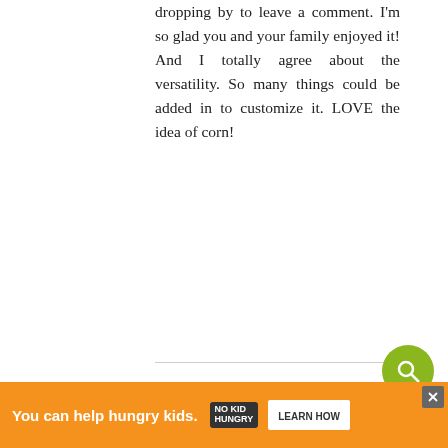dropping by to leave a comment. I'm so glad you and your family enjoyed it! And I totally agree about the versatility. So many things could be added in to customize it. LOVE the idea of corn!
Reply
DEVON December 7, 2014 at 11:04 PM
Made it. Worked nicely. Fast and tasty.
Reply
WHAT'S NEXT → Sheet Pan Eggplant...
251
You can help hungry kids.  LEARN HOW